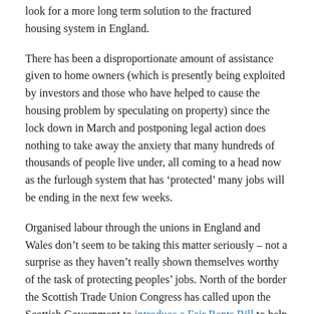look for a more long term solution to the fractured housing system in England.
There has been a disproportionate amount of assistance given to home owners (which is presently being exploited by investors and those who have helped to cause the housing problem by speculating on property) since the lock down in March and postponing legal action does nothing to take away the anxiety that many hundreds of thousands of people live under, all coming to a head now as the furlough system that has ‘protected’ many jobs will be ending in the next few weeks.
Organised labour through the unions in England and Wales don’t seem to be taking this matter seriously – not a surprise as they haven’t really shown themselves worthy of the task of protecting peoples’ jobs. North of the border the Scottish Trade Union Congress has called upon the Scottish Government to introduce a Fair Rents Bill to help mitigate the issue. However, the sanctity of property rights is at the heart of capitalism and the solution to the housing crisis in these islands is systemic and won't be solved by passing a toothless law – and anyway it seems to ask for support to dealing with the matter.